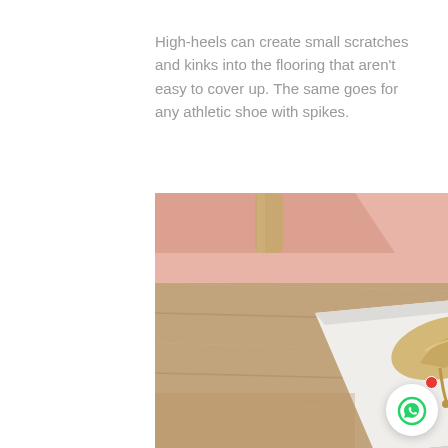High-heels can create small scratches and kinks into the flooring that aren't easy to cover up. The same goes for any athletic shoe with spikes.
[Figure (photo): Overhead photo of a person in white wide-leg trousers sitting on a wooden floor next to a white shoebox containing a pair of gold/champagne high-heel stilettos. A pink surface and wooden table leg are visible in the upper left. The image is shot from above showing the floor, shoes, box, and the person's legs.]